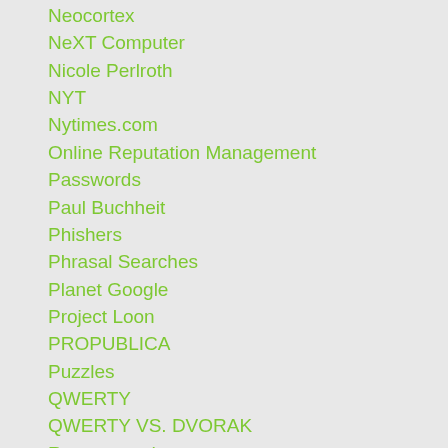Neocortex
NeXT Computer
Nicole Perlroth
NYT
Nytimes.com
Online Reputation Management
Passwords
Paul Buchheit
Phishers
Phrasal Searches
Planet Google
Project Loon
PROPUBLICA
Puzzles
QWERTY
QWERTY VS. DVORAK
Recommend
Reconsideration Tool
Reid Hoffman